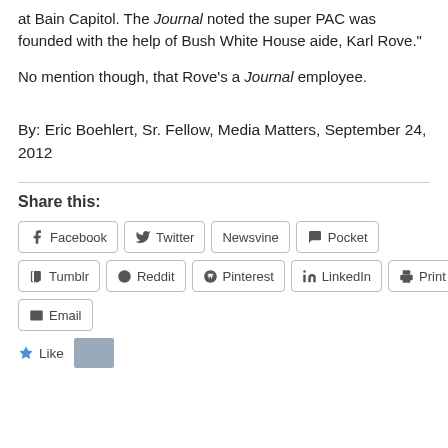at Bain Capitol. The Journal noted the super PAC was founded with the help of Bush White House aide, Karl Rove.”
No mention though, that Rove’s a Journal employee.
By: Eric Boehlert, Sr. Fellow, Media Matters, September 24, 2012
Share this:
Facebook
Twitter
Newsvine
Pocket
Tumblr
Reddit
Pinterest
LinkedIn
Print
Email
Like